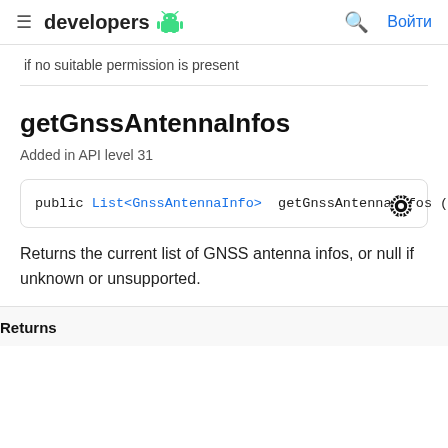developers [android logo] [search] Войти
if no suitable permission is present
getGnssAntennaInfos
Added in API level 31
public List<GnssAntennaInfo> getGnssAntennaInfos ()
Returns the current list of GNSS antenna infos, or null if unknown or unsupported.
Returns